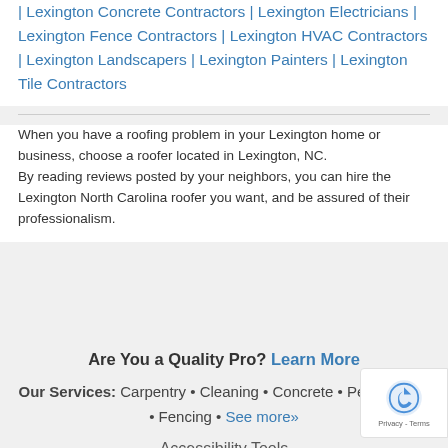| Lexington Concrete Contractors | Lexington Electricians | Lexington Fence Contractors | Lexington HVAC Contractors | Lexington Landscapers | Lexington Painters | Lexington Tile Contractors
When you have a roofing problem in your Lexington home or business, choose a roofer located in Lexington, NC. By reading reviews posted by your neighbors, you can hire the Lexington North Carolina roofer you want, and be assured of their professionalism.
Are You a Quality Pro? Learn More
Our Services: Carpentry • Cleaning • Concrete • Pest Control • Fencing • See more»
Accessibility Tools